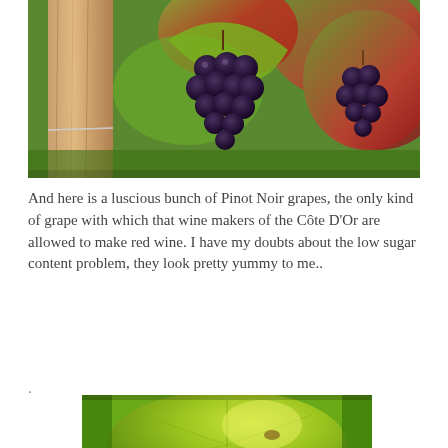[Figure (photo): Close-up photograph of Pinot Noir grape clusters hanging on a vine with large green and red-tinged leaves, and a wooden post visible on the left side.]
And here is a luscious bunch of Pinot Noir grapes, the only kind of grape with which that wine makers of the Côte D'Or are allowed to make red wine. I have my doubts about the low sugar content problem, they look pretty yummy to me..
.
[Figure (photo): Close-up photograph of large green vine leaves with bright sunlight illuminating them, showing leaf texture and veining.]